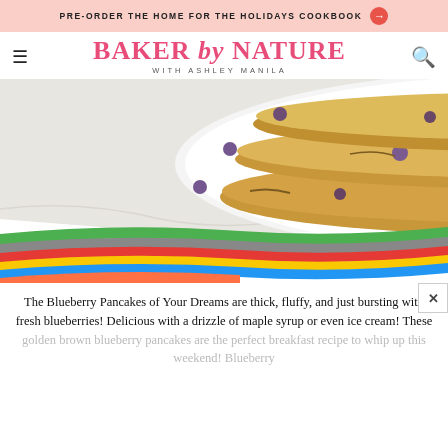PRE-ORDER THE HOME FOR THE HOLIDAYS COOKBOOK →
BAKER by NATURE WITH ASHLEY MANILA
[Figure (photo): Stack of blueberry pancakes on a white plate with a colorful striped napkin underneath, on a marble surface]
The Blueberry Pancakes of Your Dreams are thick, fluffy, and just bursting with fresh blueberries! Delicious with a drizzle of maple syrup or even ice cream! These golden brown blueberry pancakes are the perfect breakfast recipe to whip up this weekend! Blueberry